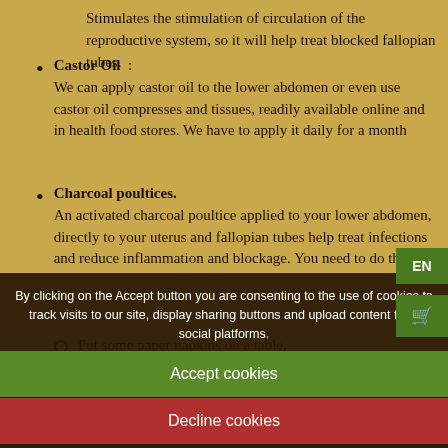Stimulates the stimulation of circulation of the reproductive system, so it will help treat blocked fallopian tubes.
Castor Oil : We can apply castor oil to the lower abdomen or even use castor oil compresses and tissues, readily available online and in health food stores. We have to apply it daily for a month
Charcoal poultices. An activated charcoal poultice applied to your lower abdomen, directly to your uterus and fallopian tubes help treat infections and reduce inflammation and blockage. You need to do this:
Put some paper napkins on a table.
Put a mixture of activated charcoal and flax seeds on the napkins and cover with more paper napkins.
plastic wrap. Use the poultice overnight for the best results.
By clicking on the Accept button you are consenting to the use of cookies to track visits to our site, display sharing buttons and upload content from social platforms.
Accept cookies
Decline cookies
In addition to the natural remedies mentioned, we can add other re...
highly hormonal foods, such as poultry, or giving massages in